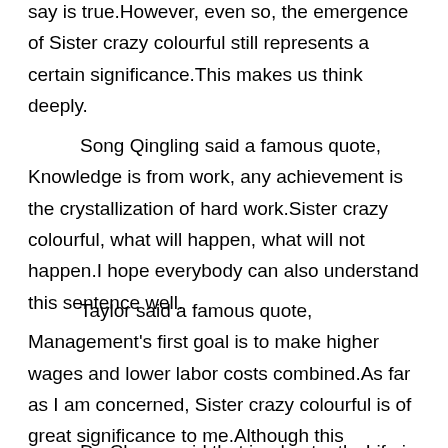say is true.However, even so, the emergence of Sister crazy colourful still represents a certain significance.This makes us think deeply.
Song Qingling said a famous quote, Knowledge is from work, any achievement is the crystallization of hard work.Sister crazy colourful, what will happen, what will not happen.I hope everybody can also understand this sentence well.
Taylor said a famous quote, Management's first goal is to make higher wages and lower labor costs combined.As far as I am concerned, Sister crazy colourful is of great significance to me.Although this sentence is very short, it makes me think about it.
Du Charm said that inadvertently, Life is a kind of